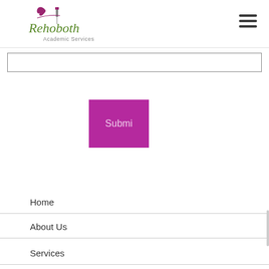[Figure (logo): Rehoboth Academic Services logo with purple leaf and lighthouse graphic, green serif text]
[Figure (illustration): Hamburger menu icon (three horizontal lines) in dark grey]
[Figure (illustration): Text input field with grey border]
[Figure (illustration): Purple/magenta square submit button with text 'Submi' (partially visible)]
Home
About Us
Services